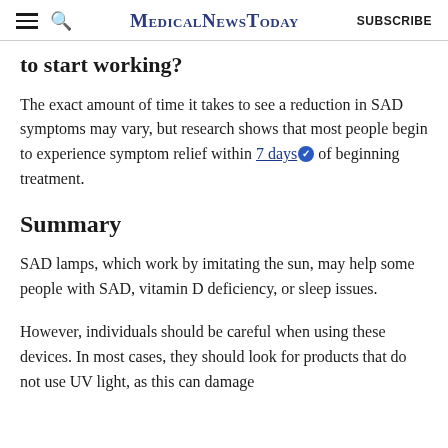MedicalNewsToday | SUBSCRIBE
to start working?
The exact amount of time it takes to see a reduction in SAD symptoms may vary, but research shows that most people begin to experience symptom relief within 7 days of beginning treatment.
Summary
SAD lamps, which work by imitating the sun, may help some people with SAD, vitamin D deficiency, or sleep issues.
However, individuals should be careful when using these devices. In most cases, they should look for products that do not use UV light, as this can damage